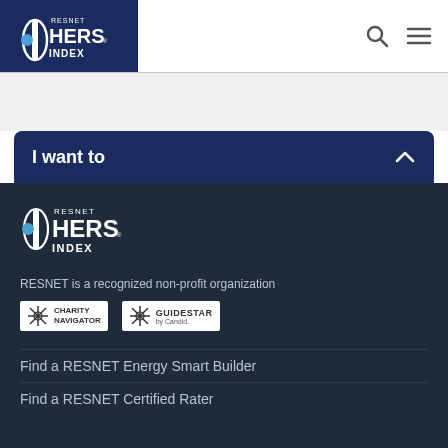[Figure (logo): RESNET HERS INDEX logo in white on dark navy background, top navigation bar]
[Figure (screenshot): Search icon (magnifying glass) and hamburger menu icon in top navigation]
[Figure (screenshot): Dark navy blue accordion/dropdown bar with text 'I want to' and chevron up icon on the right]
[Figure (logo): RESNET HERS INDEX logo in white on dark background in footer]
RESNET is a recognized non-profit organization
[Figure (logo): Charity Navigator logo badge]
[Figure (logo): GuideStar by Candid logo badge]
Find a RESNET Energy Smart Builder
Find a RESNET Certified Rater